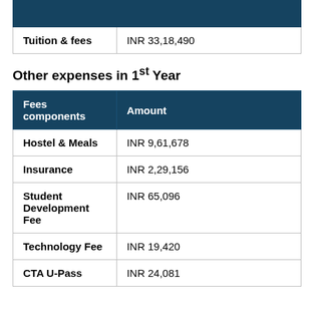|  |  |
| --- | --- |
| Tuition & fees | INR 33,18,490 |
Other expenses in 1st Year
| Fees components | Amount |
| --- | --- |
| Hostel & Meals | INR 9,61,678 |
| Insurance | INR 2,29,156 |
| Student Development Fee | INR 65,096 |
| Technology Fee | INR 19,420 |
| CTA U-Pass | INR 24,081 |